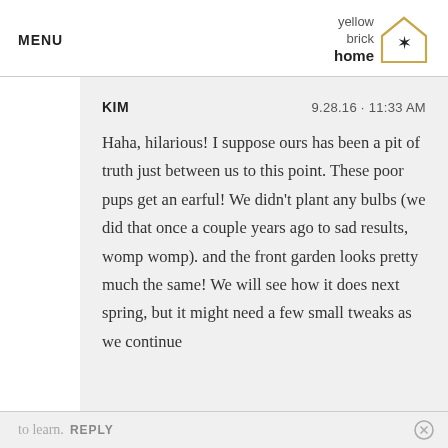MENU | yellow brick home logo
KIM   9.28.16 · 11:33 AM

Haha, hilarious! I suppose ours has been a pit of truth just between us to this point. These poor pups get an earful! We didn't plant any bulbs (we did that once a couple years ago to sad results, womp womp). and the front garden looks pretty much the same! We will see how it does next spring, but it might need a few small tweaks as we continue to learn.
to learn.  REPLY